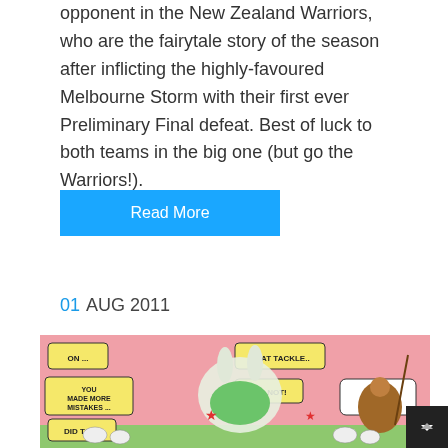opponent in the New Zealand Warriors, who are the fairytale story of the season after inflicting the highly-favoured Melbourne Storm with their first ever Preliminary Final defeat. Best of luck to both teams in the big one (but go the Warriors!).
Read More
01 AUG 2011
[Figure (illustration): A comic strip showing cartoon characters (a white bunny/rabbit character in sports gear and a darker-skinned character) arguing with speech bubbles: 'ON...', 'THAT TACKLE...', 'YOU MADE MORE MISTAKES...', 'DID NOT!', 'geez... fah bro!', 'DID TOO!'. Background is pink/red with star decorations.]